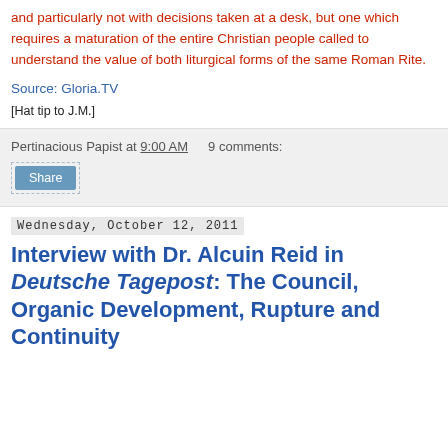and particularly not with decisions taken at a desk, but one which requires a maturation of the entire Christian people called to understand the value of both liturgical forms of the same Roman Rite.
Source: Gloria.TV
[Hat tip to J.M.]
Pertinacious Papist at 9:00 AM   9 comments:
Share
Wednesday, October 12, 2011
Interview with Dr. Alcuin Reid in Deutsche Tagepost: The Council, Organic Development, Rupture and Continuity